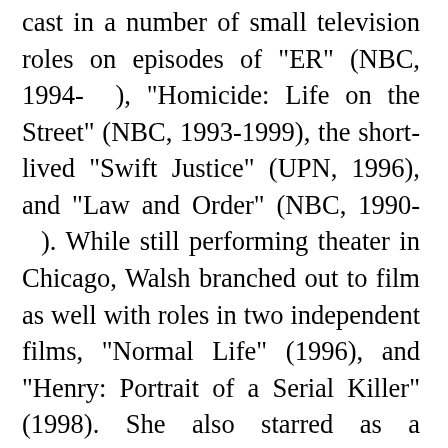cast in a number of small television roles on episodes of "ER" (NBC, 1994- ), "Homicide: Life on the Street" (NBC, 1993-1999), the short-lived "Swift Justice" (UPN, 1996), and "Law and Order" (NBC, 1990- ). While still performing theater in Chicago, Walsh branched out to film as well with roles in two independent films, "Normal Life" (1996), and "Henry: Portrait of a Serial Killer" (1998). She also starred as a kleptomaniac in the short film "Peppermills" (1997), which won Best Short Film at the Berlin Film Festival in 1998. Walsh's improvisational comedy training soon helped her land more prominent series regular roles on "The Mike O'Malley Show" (NBC, 1999), "The Norm Show" (ABC, 1999-2001), and HBO's "The Mind of the Married Man" (2001-2002). Walsh was then cast in a recurring role on "The Drew Carey